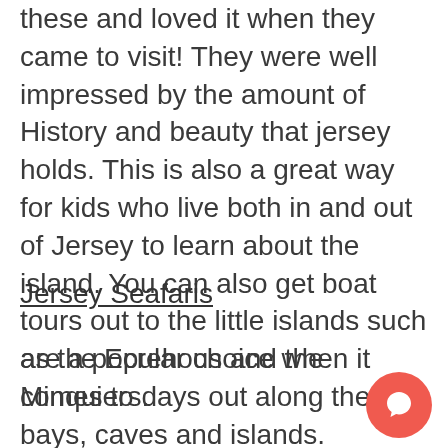these and loved it when they came to visit! They were well impressed by the amount of History and beauty that jersey holds. This is also a great way for kids who live both in and out of Jersey to learn about the island. You can also get boat tours out to the little islands such as the Ecrehous and the Minquiers.
Jersey Seafaris
are a popular choice when it comes to days out along the bays, caves and islands. Something the tweens and teens are sure to enjoy too with